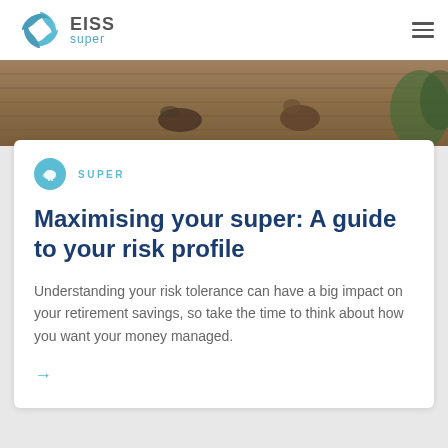EISS super
[Figure (photo): Close-up photo of feet/shoes on a wooden deck or boardwalk, warm tones]
SUPER
Maximising your super: A guide to your risk profile
Understanding your risk tolerance can have a big impact on your retirement savings, so take the time to think about how you want your money managed.
→